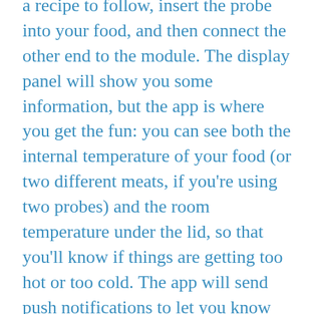a recipe to follow, insert the probe into your food, and then connect the other end to the module. The display panel will show you some information, but the app is where you get the fun: you can see both the internal temperature of your food (or two different meats, if you're using two probes) and the room temperature under the lid, so that you'll know if things are getting too hot or too cold. The app will send push notifications to let you know when it's time to flip your food, and another notification when it's ready to go. A countdown timer within the app is constantly making adjustments based on real-time temperatures and will give you an accurate estimate of when your food is ready.